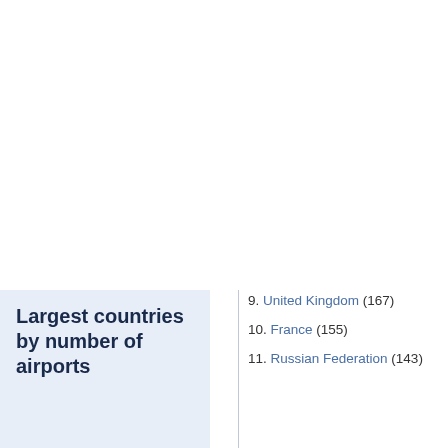Largest countries by number of airports
9. United Kingdom (167)
10. France (155)
11. Russian Federation (143)